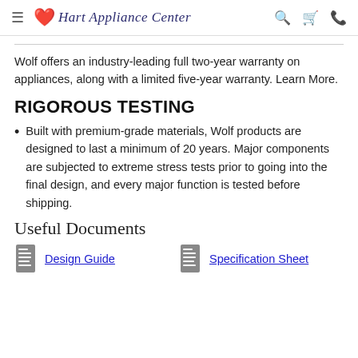Hart Appliance Center
Wolf offers an industry-leading full two-year warranty on appliances, along with a limited five-year warranty. Learn More.
RIGOROUS TESTING
Built with premium-grade materials, Wolf products are designed to last a minimum of 20 years. Major components are subjected to extreme stress tests prior to going into the final design, and every major function is tested before shipping.
Useful Documents
Design Guide
Specification Sheet